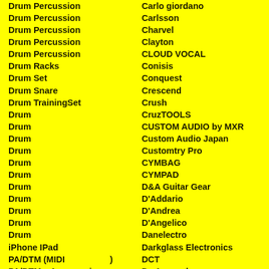Drum Percussion
Drum Percussion
Drum Percussion
Drum Percussion
Drum Percussion
Drum Racks
Drum Set
Drum Snare
Drum TrainingSet
Drum
Drum
Drum
Drum
Drum
Drum
Drum
Drum
Drum
Drum
Drum
iPhone IPad
PA/DTM (MIDI　　　　　)
PA/DTM　Accessories
PA/DTM
PA/DTM
PA/DTM
Carlo giordano
Carlsson
Charvel
Clayton
CLOUD VOCAL
Conisis
Conquest
Crescend
Crush
CruzTOOLS
CUSTOM AUDIO by MXR
Custom Audio Japan
Customtry Pro
CYMBAG
CYMPAD
D&A Guitar Gear
D'Addario
D'Andrea
D'Angelico
Danelectro
Darkglass Electronics
DCT
De Armond
Dean Markley
DeArmond
DeGregorio